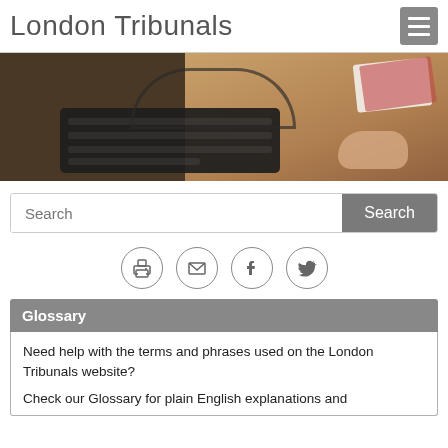London Tribunals
[Figure (photo): Photo of a desk with a keyboard, cables, and a hand holding papers in the background]
Search
[Figure (infographic): Row of four circular social/action icons: print, email, Facebook, Twitter]
Glossary
Need help with the terms and phrases used on the London Tribunals website?
Check our Glossary for plain English explanations and